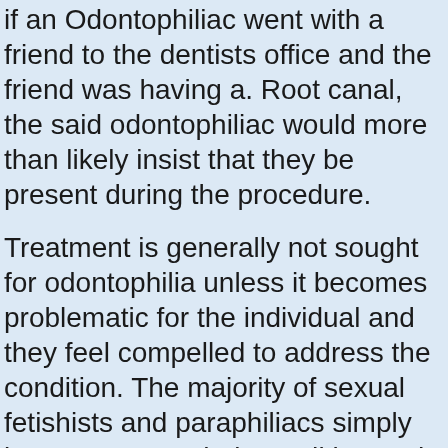if an Odontophiliac went with a friend to the dentists office and the friend was having a. Root canal, the said odontophiliac would more than likely insist that they be present during the procedure.
Treatment is generally not sought for odontophilia unless it becomes problematic for the individual and they feel compelled to address the condition. The majority of sexual fetishists and paraphiliacs simply learn to accept their condition and manage to achieve sexual gratification in an appropriate manner with no problem for the individual or their sexual partners.
**Mistress K: Ready to help Door Handle or Plyers both will give you pain **